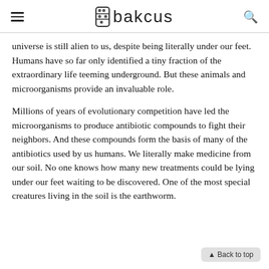Abakcus
universe is still alien to us, despite being literally under our feet. Humans have so far only identified a tiny fraction of the extraordinary life teeming underground. But these animals and microorganisms provide an invaluable role.
Millions of years of evolutionary competition have led the microorganisms to produce antibiotic compounds to fight their neighbors. And these compounds form the basis of many of the antibiotics used by us humans. We literally make medicine from our soil. No one knows how many new treatments could be lying under our feet waiting to be discovered. One of the most special creatures living in the soil is the earthworm.
▲ Back to top